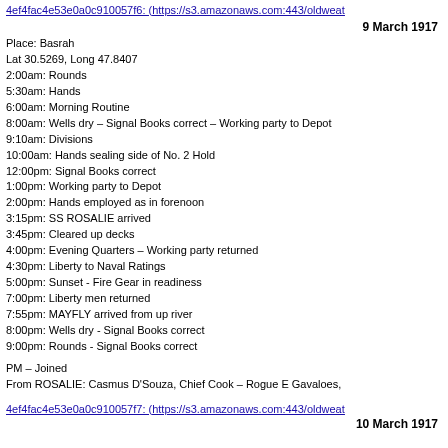4ef4fac4e53e0a0c910057f6: (https://s3.amazonaws.com:443/oldweat
9 March 1917
Place: Basrah
Lat 30.5269, Long 47.8407
2:00am: Rounds
5:30am: Hands
6:00am: Morning Routine
8:00am: Wells dry – Signal Books correct – Working party to Depot
9:10am: Divisions
10:00am: Hands sealing side of No. 2 Hold
12:00pm: Signal Books correct
1:00pm: Working party to Depot
2:00pm: Hands employed as in forenoon
3:15pm: SS ROSALIE arrived
3:45pm: Cleared up decks
4:00pm: Evening Quarters – Working party returned
4:30pm: Liberty to Naval Ratings
5:00pm: Sunset - Fire Gear in readiness
7:00pm: Liberty men returned
7:55pm: MAYFLY arrived from up river
8:00pm: Wells dry - Signal Books correct
9:00pm: Rounds - Signal Books correct
PM – Joined
From ROSALIE: Casmus D'Souza, Chief Cook – Rogue E Gavaloes,
4ef4fac4e53e0a0c910057f7: (https://s3.amazonaws.com:443/oldweat
10 March 1917